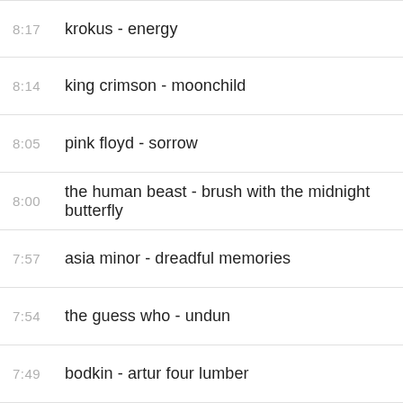8:17  krokus - energy
8:14  king crimson - moonchild
8:05  pink floyd - sorrow
8:00  the human beast - brush with the midnight butterfly
7:57  asia minor - dreadful memories
7:54  the guess who - undun
7:49  bodkin - artur four lumber